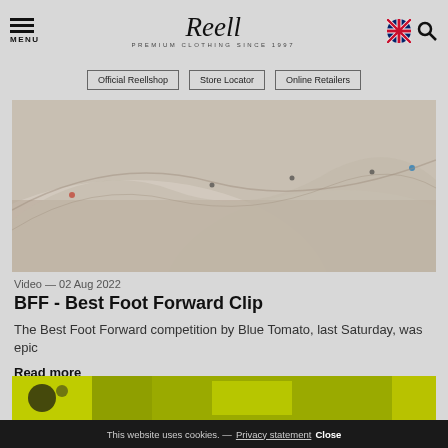MENU | Reell PREMIUM CLOTHING SINCE 1997
Official Reellshop
Store Locator
Online Retailers
[Figure (photo): Aerial or overhead view of a skate park with concrete ramps and skaters]
Video — 02 Aug 2022
BFF - Best Foot Forward Clip
The Best Foot Forward competition by Blue Tomato, last Saturday, was epic
Read more
[Figure (photo): Partial view of another article image at bottom, yellow/green tones]
This website uses cookies. — Privacy statement Close